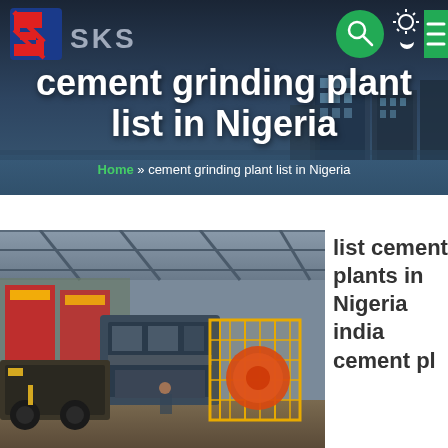[Figure (screenshot): SKS company logo with red and blue zigzag S-shaped icon and grey SKS text]
cement grinding plant list in Nigeria
Home » cement grinding plant list in Nigeria
[Figure (photo): Industrial cement grinding plant machinery interior with yellow-caged equipment and red banners]
list cement plants in Nigeria india cement pl